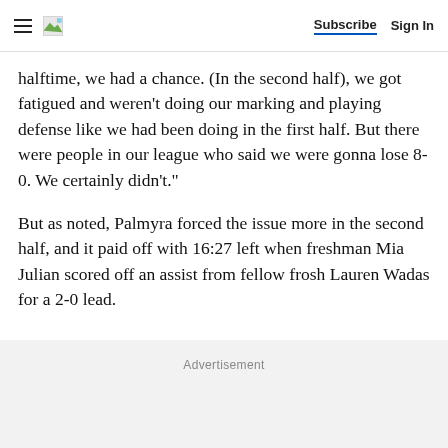Subscribe  Sign In
halftime, we had a chance. (In the second half), we got fatigued and weren't doing our marking and playing defense like we had been doing in the first half. But there were people in our league who said we were gonna lose 8-0. We certainly didn't."
But as noted, Palmyra forced the issue more in the second half, and it paid off with 16:27 left when freshman Mia Julian scored off an assist from fellow frosh Lauren Wadas for a 2-0 lead.
Advertisement